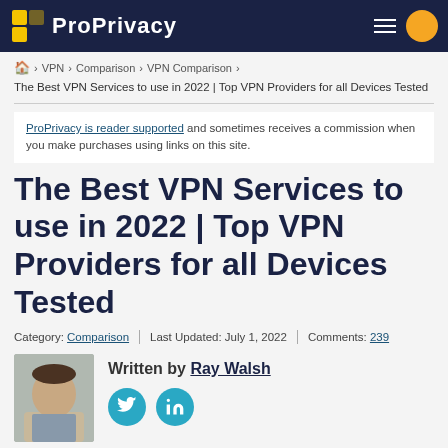ProPrivacy
🏠 › VPN › Comparison › VPN Comparison ›
The Best VPN Services to use in 2022 | Top VPN Providers for all Devices Tested
ProPrivacy is reader supported and sometimes receives a commission when you make purchases using links on this site.
The Best VPN Services to use in 2022 | Top VPN Providers for all Devices Tested
Category: Comparison | Last Updated: July 1, 2022 | Comments: 239
Written by Ray Walsh